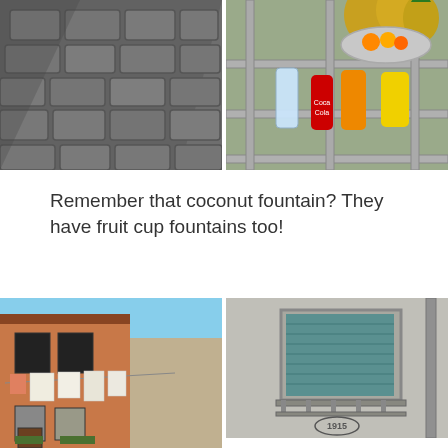[Figure (photo): Stone cobblestone pavement with shadows, viewed from above]
[Figure (photo): Fruit cup fountain with bottles of juice, Coca-Cola, and tropical fruits on a market stall]
Remember that coconut fountain? They have fruit cup fountains too!
[Figure (photo): Venetian building with laundry hanging on clotheslines between buildings, terracotta facade with dark shutters]
[Figure (photo): Close-up of a grey Venetian building facade with a teal/blue wooden shutter window and a metal railing, number 1915 on wall]
[Figure (photo): Bottom of a Venetian building facade with decorative balconies and flower boxes]